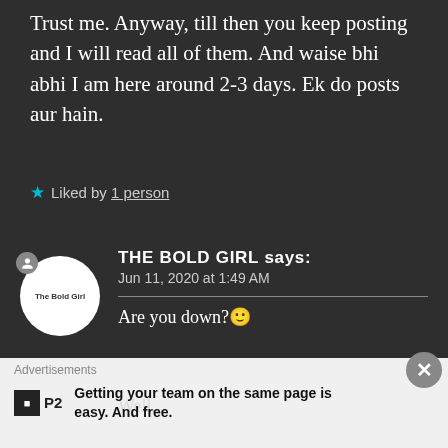Trust me. Anyway, till then you keep posting and I will read all of them. And waise bhi abhi I am here around 2-3 days. Ek do posts aur hain.
★ Liked by 1 person
THE BOLD GIRL says:
Jun 11, 2020 at 1:49 AM
Are you down?🙂
Advertisements
P2 Getting your team on the same page is easy. And free.